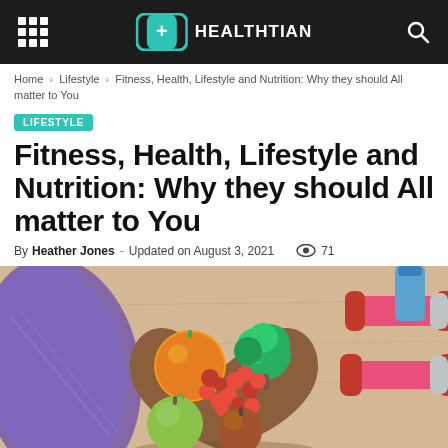HEALTHTIAN
Home > Lifestyle > Fitness, Health, Lifestyle and Nutrition: Why they should All matter to You
LIFESTYLE
Fitness, Health, Lifestyle and Nutrition: Why they should All matter to You
By Heather Jones - Updated on August 3, 2021  👁 71
[Figure (photo): A heart-shaped wooden bowl filled with colorful fruits and vegetables including an orange, green apple, cherry tomatoes, broccoli, and other produce, placed on a wooden surface alongside a purple yoga mat and pink dumbbells in the background.]